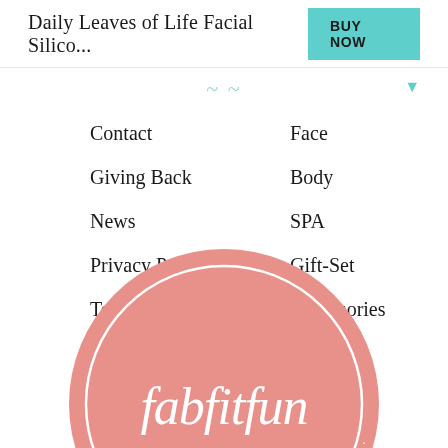Daily Leaves of Life Facial Silico...
Contact
Face
Giving Back
Body
News
SPA
Privacy Policy
Gift-Set
Terms & Conditions
Accessories
Accessibility
[Figure (logo): FabFitFun circular logo in salmon/pink with white script text reading 'fabfitfun']